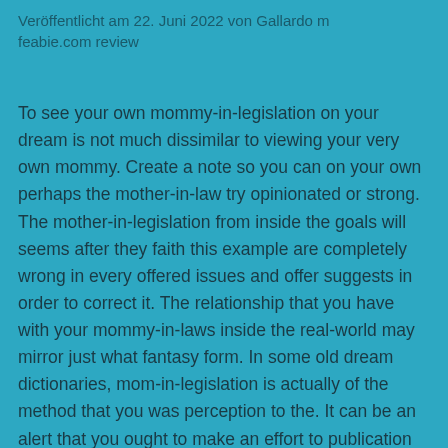Veröffentlicht am 22. Juni 2022 von Gallardo m feabie.com review
To see your own mommy-in-legislation on your dream is not much dissimilar to viewing your very own mommy. Create a note so you can on your own perhaps the mother-in-law try opinionated or strong. The mother-in-legislation from inside the goals will seems after they faith this example are completely wrong in every offered issues and offer suggests in order to correct it. The relationship that you have with your mommy-in-laws inside the real-world may mirror just what fantasy form. In some old dream dictionaries, mom-in-legislation is actually of the method that you was perception to the. It can be an alert that you ought to make an effort to publication people in the right guidance. Eventually your feel really glad you did if you hear their mom-in-laws on fantasy. Very hopes for an ex boyfriend lover's mom